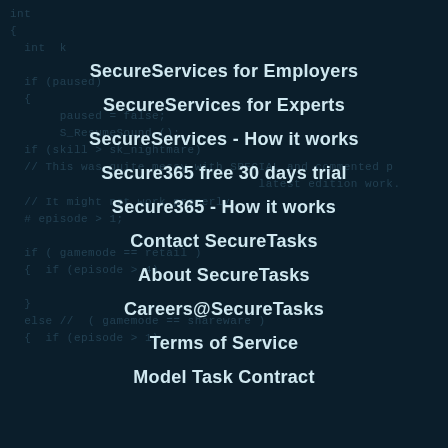[Figure (screenshot): Dark background with semi-transparent code (programming/script text) visible behind navigation menu items]
SecureServices for Employers
SecureServices for Experts
SecureServices - How it works
Secure365 free 30 days trial
Secure365 - How it works
Contact SecureTasks
About SecureTasks
Careers@SecureTasks
Terms of Service
Model Task Contract